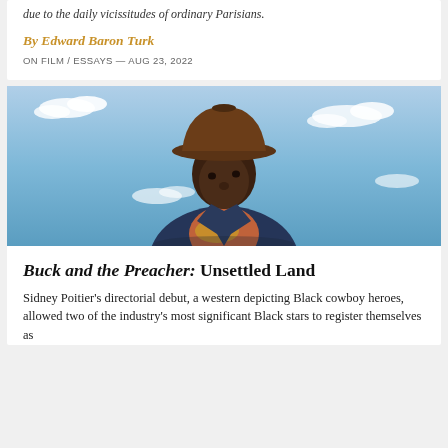due to the daily vicissitudes of ordinary Parisians.
By Edward Baron Turk
ON FILM / ESSAYS — AUG 23, 2022
[Figure (photo): A Black man wearing a brown cowboy hat and blue jacket with an orange/red neckerchief, looking upward against a blue sky with white clouds — a still from the film Buck and the Preacher.]
Buck and the Preacher: Unsettled Land
Sidney Poitier's directorial debut, a western depicting Black cowboy heroes, allowed two of the industry's most significant Black stars to register themselves as…